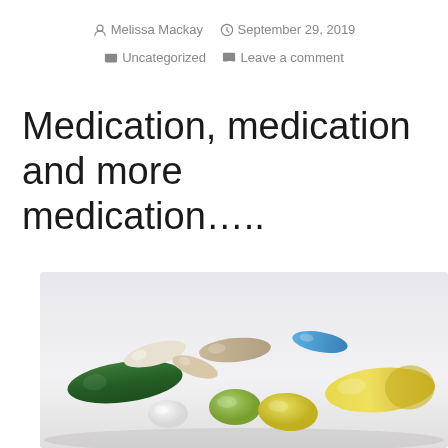Melissa Mackay  September 29, 2019  Uncategorized  Leave a comment
Medication, medication and more medication…..
[Figure (photo): Assorted pills and capsules including a large green capsule, yellow capsule, blue capsule, green round tablet, yellow oval tablet, and other various pills on a light background.]